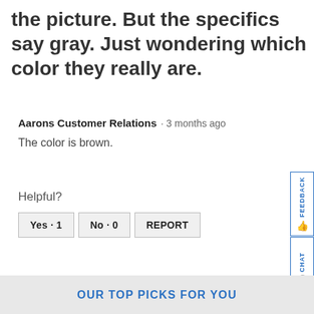the picture. But the specifics say gray. Just wondering which color they really are.
Aarons Customer Relations · 3 months ago
The color is brown.
Helpful?
Yes · 1   No · 0   REPORT
OUR TOP PICKS FOR YOU